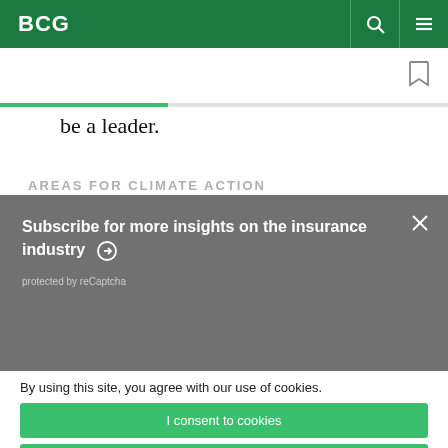BCG
be a leader.
AREAS FOR CLIMATE ACTION
Subscribe for more insights on the insurance industry
protected by reCaptcha
By using this site, you agree with our use of cookies.
I consent to cookies
Want to know more?
Read our Cookie Policy